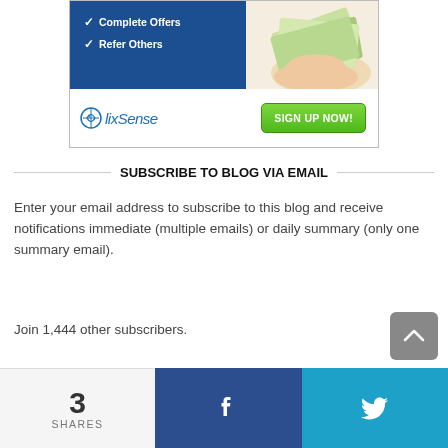[Figure (illustration): ClixSense advertisement banner with blue background showing 'Complete Offers' and 'Refer Others' checkboxes, a hand holding money on the right, ClixSense logo at bottom left, and a green 'SIGN UP NOW!' button at bottom right.]
SUBSCRIBE TO BLOG VIA EMAIL
Enter your email address to subscribe to this blog and receive notifications immediate (multiple emails) or daily summary (only one summary email).
Join 1,444 other subscribers.